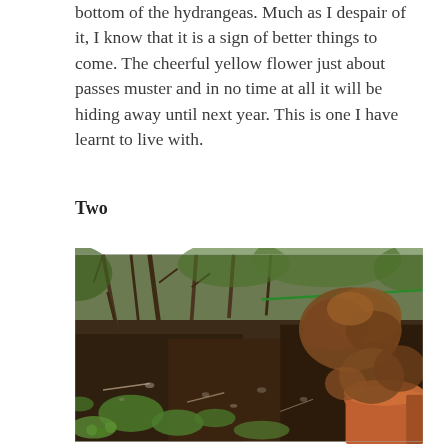bottom of the hydrangeas. Much as I despair of it, I know that it is a sign of better things to come. The cheerful yellow flower just about passes muster and in no time at all it will be hiding away until next year. This is one I have learnt to live with.
Two
[Figure (photo): Garden scene showing bare hydrangea stems and soil with small green weeds emerging, a terracotta pot with brown dried foliage on the right, and a green garden wire visible in the background.]